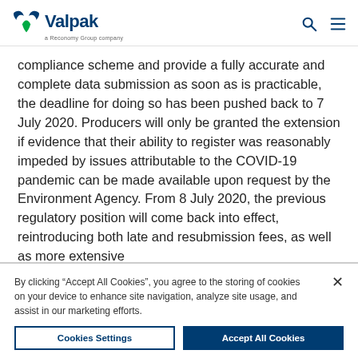Valpak — a Reconomy Group company
compliance scheme and provide a fully accurate and complete data submission as soon as is practicable, the deadline for doing so has been pushed back to 7 July 2020. Producers will only be granted the extension if evidence that their ability to register was reasonably impeded by issues attributable to the COVID-19 pandemic can be made available upon request by the Environment Agency. From 8 July 2020, the previous regulatory position will come back into effect, reintroducing both late and resubmission fees, as well as more extensive
By clicking “Accept All Cookies”, you agree to the storing of cookies on your device to enhance site navigation, analyze site usage, and assist in our marketing efforts.
Cookies Settings
Accept All Cookies